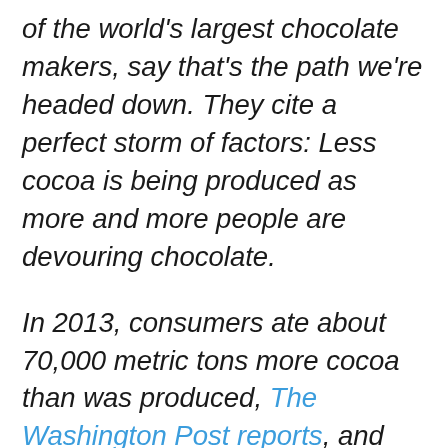of the world's largest chocolate makers, say that's the path we're headed down. They cite a perfect storm of factors: Less cocoa is being produced as more and more people are devouring chocolate.

In 2013, consumers ate about 70,000 metric tons more cocoa than was produced, The Washington Post reports, and that deficit could go up to 1 million metric tons by 2020. The Ivory Coast and Ghana produce more than 70 percent of the world's